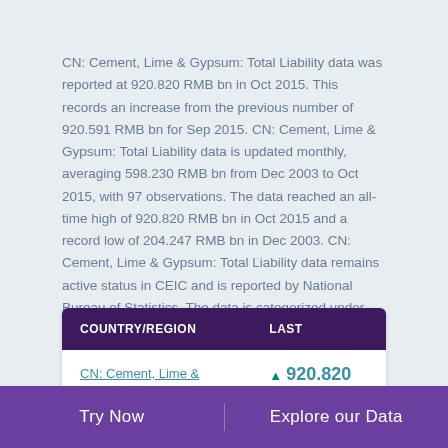CN: Cement, Lime & Gypsum: Total Liability data was reported at 920.820 RMB bn in Oct 2015. This records an increase from the previous number of 920.591 RMB bn for Sep 2015. CN: Cement, Lime & Gypsum: Total Liability data is updated monthly, averaging 598.230 RMB bn from Dec 2003 to Oct 2015, with 97 observations. The data reached an all-time high of 920.820 RMB bn in Oct 2015 and a record low of 204.247 RMB bn in Dec 2003. CN: Cement, Lime & Gypsum: Total Liability data remains active status in CEIC and is reported by National Bureau of Statistics. The data is categorized under China Premium Database's Industrial Sector – Table CN.BHS: Non Metallic Mineral Product: Cement, Lime and Gypsum.
| COUNTRY/REGION | LAST |
| --- | --- |
| CN: Cement, Lime & Gypsum: Total Liability | ▲ 920.820 |
Try Now    Explore our Data